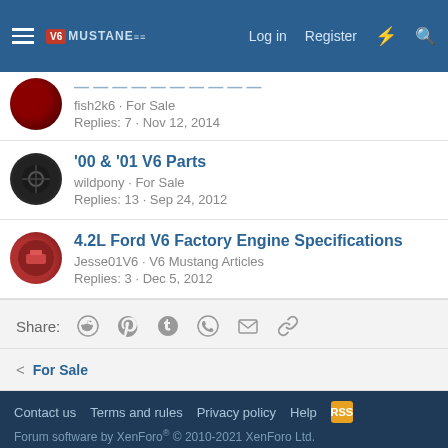V6 Mustang — Log in | Register
'00 & '01 V6 Parts — wildpony · For Sale — Replies: 13 · Sep 24, 2012
4.2L Ford V6 Factory Engine Specifications — Jesse01V6 · V6 Mustang Articles — Replies: 3 · Dec 5, 2012
Share:
< For Sale
Contact us  Terms and rules  Privacy policy  Help  Forum software by XenForo® © 2010-2021 XenForo Ltd.